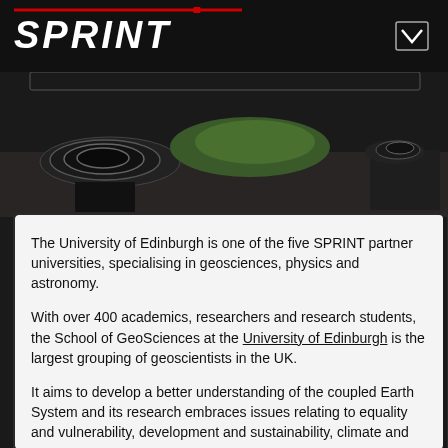SPRINT
[Figure (photo): Dark hero image showing what appears to be large sculptural or industrial objects on a surface, viewed from above, with greenery visible in background]
The University of Edinburgh is one of the five SPRINT partner universities, specialising in geosciences, physics and astronomy.
With over 400 academics, researchers and research students, the School of GeoSciences at the University of Edinburgh is the largest grouping of geoscientists in the UK.
It aims to develop a better understanding of the coupled Earth System and its research embraces issues relating to equality and vulnerability, development and sustainability, climate and